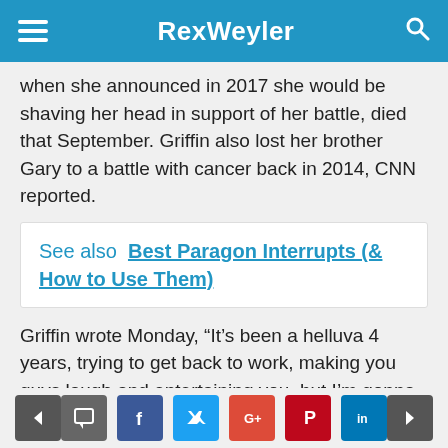RexWeyler
when she announced in 2017 she would be shaving her head in support of her battle, died that September. Griffin also lost her brother Gary to a battle with cancer back in 2014, CNN reported.
See also  Best Paragon Interrupts (& How to Use Them)
Griffin wrote Monday, “It’s been a helluva 4 years, trying to get back to work, making you guys laugh and entertaining you, but I’m gonna be just fine.”
The comedian faced backlash and even reported death threats in 2017 after controversial photos were released showing her holding up a bloodied